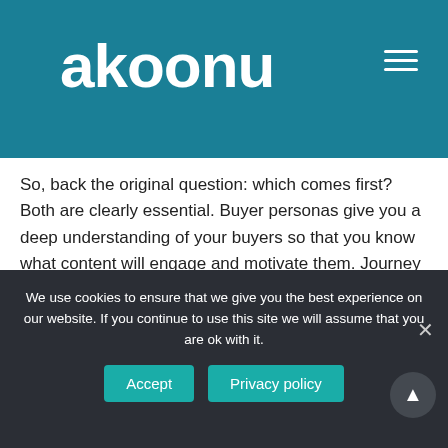akoonu
So, back the original question: which comes first? Both are clearly essential. Buyer personas give you a deep understanding of your buyers so that you know what content will engage and motivate them. Journey maps make sure you get that content to the right person at the right time.  The more you know about your buyer personas and journey, the more effectively you can engage with them throughout their purchasing process and influence the purchase decision.
We use cookies to ensure that we give you the best experience on our website. If you continue to use this site we will assume that you are ok with it.